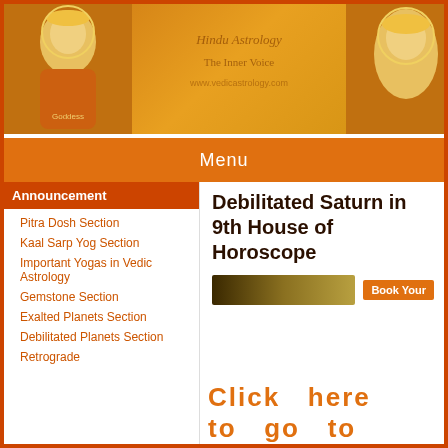[Figure (illustration): Website banner with orange/golden background featuring Hindu goddess illustrations on left and right, with decorative text in the center]
Menu
Announcement
Pitra Dosh Section
Kaal Sarp Yog Section
Important Yogas in Vedic Astrology
Gemstone Section
Exalted Planets Section
Debilitated Planets Section
Retrograde
Debilitated Saturn in 9th House of Horoscope
[Figure (photo): Article header image - dark decorative bar with Book Your button on the right]
Click here to go to